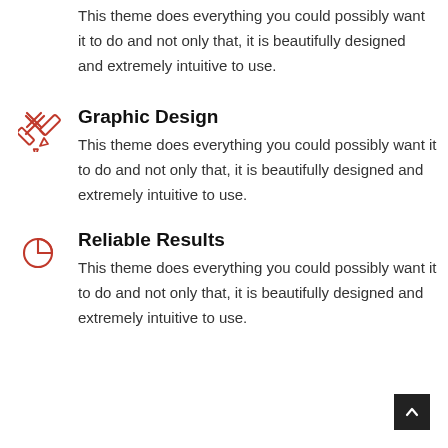This theme does everything you could possibly want it to do and not only that, it is beautifully designed and extremely intuitive to use.
Graphic Design
This theme does everything you could possibly want it to do and not only that, it is beautifully designed and extremely intuitive to use.
Reliable Results
This theme does everything you could possibly want it to do and not only that, it is beautifully designed and extremely intuitive to use.